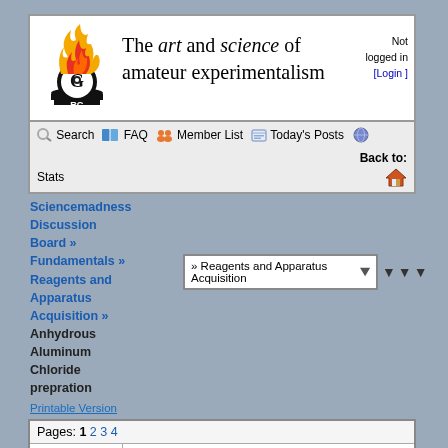The art and science of amateur experimentalism — Not logged in [Login]
Search | FAQ | Member List | Today's Posts | Stats | Back to:
Sciencemadness Discussion Board » Fundamentals » Reagents and Apparatus Acquisition » Anhydrous Aluminum Chloride prepration
» Reagents and Apparatus Acquisition
Printable Version
| Author | Subject: Anhydrous Aluminum Chloride prepration |
| --- | --- |
| Chainhit222
Hazard to Others
★★★ | posted on 26-7-2010 at 15:22
Anhydrous Aluminum Chloride prepration |